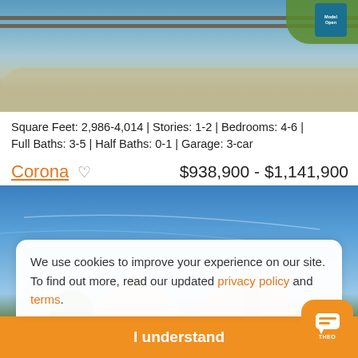[Figure (photo): Top portion of a residential home exterior photo showing a fence, road/driveway, grass and an open house sign]
Square Feet: 2,986-4,014 | Stories: 1-2 | Bedrooms: 4-6 | Full Baths: 3-5 | Half Baths: 0-1 | Garage: 3-car
Corona ♡   $938,900 - $1,141,900
[Figure (photo): Front elevation photo of a large stone/brick house with multiple roof peaks against a blue sky]
We use cookies to improve your experience on our site. To find out more, read our updated privacy policy and terms.
I understand